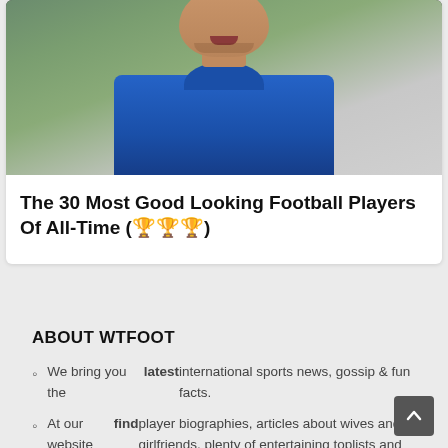[Figure (photo): Photo of a football player wearing a blue jersey, cropped to show face and upper body on a blurred outdoor background]
The 30 Most Good Looking Football Players Of All-Time (🏆🏆🏆)
ABOUT WTFOOT
We bring you the latest international sports news, gossip & fun facts.
At our website you can find player biographies, articles about wives and girlfriends, plenty of entertaining toplists and much more.